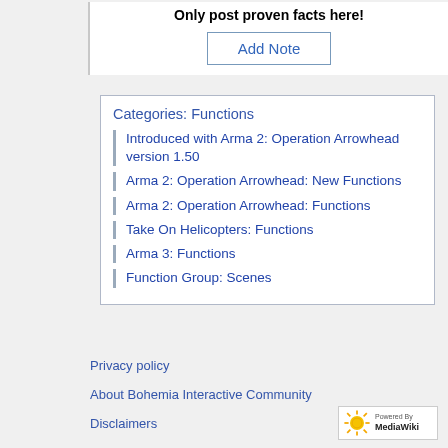Only post proven facts here!
Add Note
Categories: Functions
Introduced with Arma 2: Operation Arrowhead version 1.50
Arma 2: Operation Arrowhead: New Functions
Arma 2: Operation Arrowhead: Functions
Take On Helicopters: Functions
Arma 3: Functions
Function Group: Scenes
Privacy policy
About Bohemia Interactive Community
Disclaimers